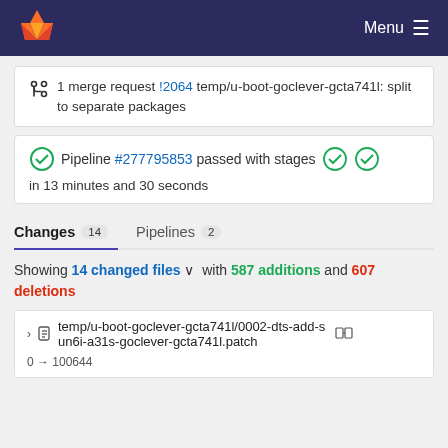GitLab — Menu
1 merge request !2064 temp/u-boot-goclever-gcta741l: split to separate packages
Pipeline #277795853 passed with stages in 13 minutes and 30 seconds
Changes 14   Pipelines 2
Showing 14 changed files with 587 additions and 607 deletions
temp/u-boot-goclever-gcta741l/0002-dts-add-sun6i-a31s-goclever-gcta741l.patch   0 → 100644